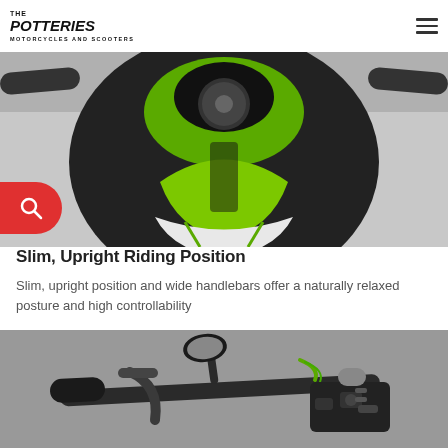The Potteries Motorcycles and Scooters
[Figure (photo): Front view of a Kawasaki motorcycle with green and black color scheme, showing handlebars, front fairing, and fuel tank from above]
Slim, Upright Riding Position
Slim, upright position and wide handlebars offer a naturally relaxed posture and high controllability
[Figure (photo): Close-up of motorcycle handlebars showing brake lever, controls, and green accent detail, with black controls panel visible]